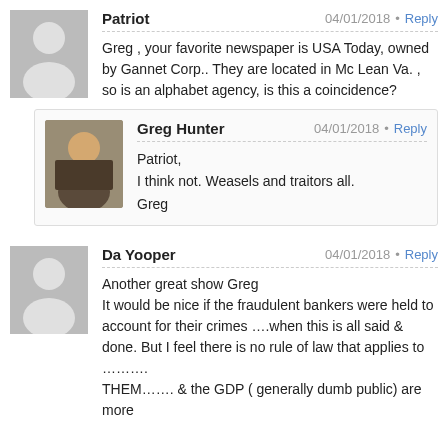Patriot — 04/01/2018 — Reply
Greg , your favorite newspaper is USA Today, owned by Gannet Corp.. They are located in Mc Lean Va. , so is an alphabet agency, is this a coincidence?
Greg Hunter — 04/01/2018 — Reply
Patriot,
I think not. Weasels and traitors all.
Greg
Da Yooper — 04/01/2018 — Reply
Another great show Greg
It would be nice if the fraudulent bankers were held to account for their crimes ….when this is all said & done. But I feel there is no rule of law that applies to ……….
THEM……. & the GDP ( generally dumb public) are more